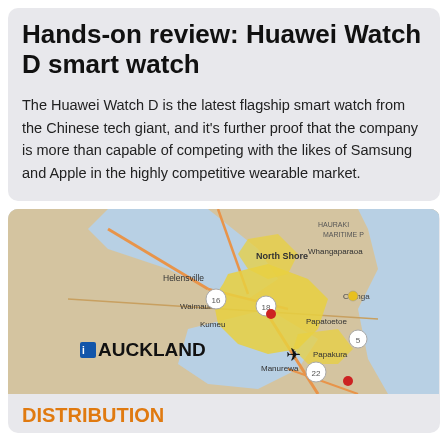Hands-on review: Huawei Watch D smart watch
The Huawei Watch D is the latest flagship smart watch from the Chinese tech giant, and it's further proof that the company is more than capable of competing with the likes of Samsung and Apple in the highly competitive wearable market.
[Figure (map): Road map of Auckland, New Zealand, showing surrounding suburbs including North Shore, Helensville, Waimauku, Kumeu, Papatoetoe, Papakura, Manurewa, and Oranga. The Auckland urban area is highlighted in yellow. An airplane icon marks the airport location.]
DISTRIBUTION